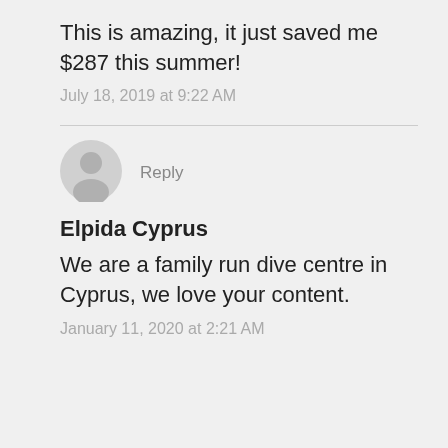This is amazing, it just saved me $287 this summer!
July 18, 2019 at 9:22 AM
[Figure (illustration): Generic user avatar circle with silhouette]
Reply
Elpida Cyprus
We are a family run dive centre in Cyprus, we love your content.
January 11, 2020 at 2:21 AM